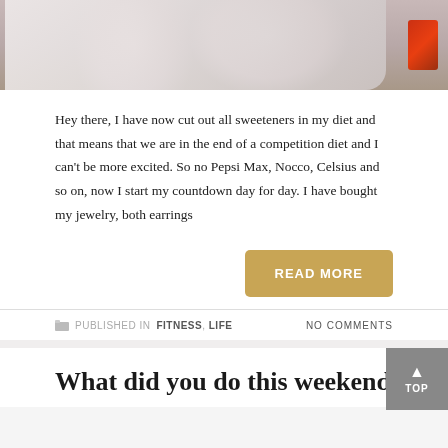[Figure (photo): Cropped photo showing a person wearing a white shirt, with a red accessory visible on the right side, against a warm background. Only the torso area is visible.]
Hey there, I have now cut out all sweeteners in my diet and that means that we are in the end of a competition diet and I can't be more excited. So no Pepsi Max, Nocco, Celsius and so on, now I start my countdown day for day. I have bought my jewelry, both earrings
READ MORE
PUBLISHED IN FITNESS, LIFE    NO COMMENTS
What did you do this weekend?